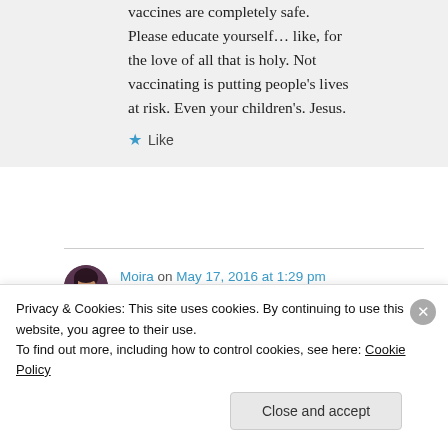vaccines are completely safe. Please educate yourself… like, for the love of all that is holy. Not vaccinating is putting people's lives at risk. Even your children's. Jesus.
★ Like
Moira on May 17, 2016 at 1:29 pm
Hi Em, I am well-educated, and I
Privacy & Cookies: This site uses cookies. By continuing to use this website, you agree to their use.
To find out more, including how to control cookies, see here: Cookie Policy
Close and accept